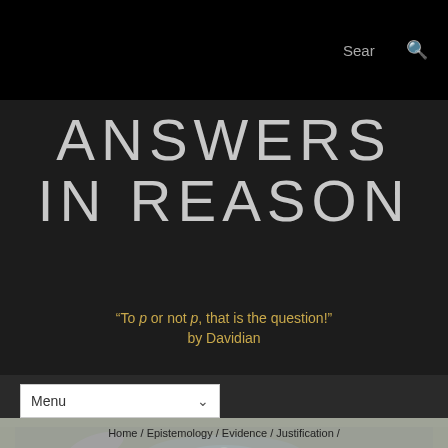Search
ANSWERS IN REASON
“To p or not p, that is the question!” by Davidian
Menu
[Figure (photo): Space/galaxy image showing spiral galaxy and nebula in blue and purple tones]
Home / Epistemology / Evidence / Justification /